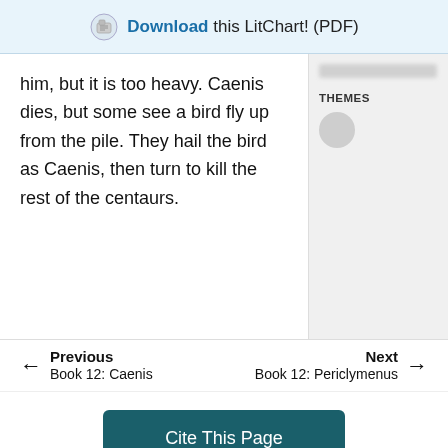Download this LitChart! (PDF)
him, but it is too heavy. Caenis dies, but some see a bird fly up from the pile. They hail the bird as Caenis, then turn to kill the rest of the centaurs.
THEMES
Previous
Book 12: Caenis
Next
Book 12: Periclymenus
Cite This Page
Home  About  Blog  Contact  Help